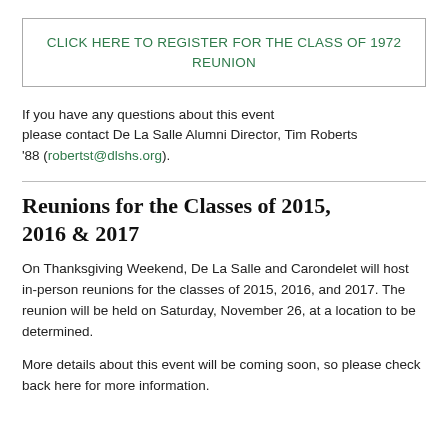CLICK HERE TO REGISTER FOR THE CLASS OF 1972 REUNION
If you have any questions about this event please contact De La Salle Alumni Director, Tim Roberts '88 (robertst@dlshs.org).
Reunions for the Classes of 2015, 2016 & 2017
On Thanksgiving Weekend, De La Salle and Carondelet will host in-person reunions for the classes of 2015, 2016, and 2017. The reunion will be held on Saturday, November 26, at a location to be determined.
More details about this event will be coming soon, so please check back here for more information.